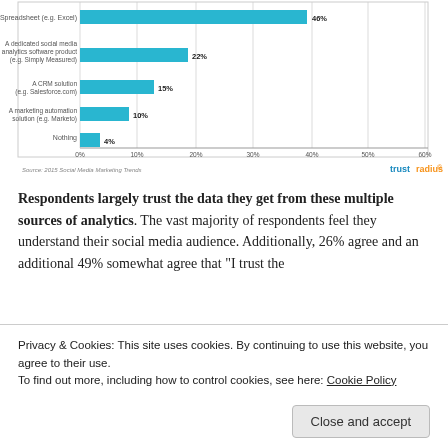[Figure (bar-chart): Social media analytics tools used]
Respondents largely trust the data they get from these multiple sources of analytics. The vast majority of respondents feel they understand their social media audience. Additionally, 26% agree and an additional 49% somewhat agree that "I trust the
Privacy & Cookies: This site uses cookies. By continuing to use this website, you agree to their use.
To find out more, including how to control cookies, see here: Cookie Policy
Close and accept